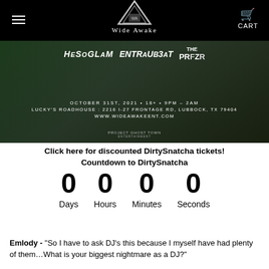Wide Awake
[Figure (photo): Event banner for DirtySnatcha Halloween 2021 show at Lucky's Roadhouse featuring HESOGLAM, ENTRAUB3AT, THE PRFZR. October 31st 2021, 18+, 9PM-2AM, 2216 I-27 Frontage Rd, Lubbock TX 79404, www.wideawakeent.com]
Click here for discounted DirtySnatcha tickets!
Countdown to DirtySnatcha
0 Days  0 Hours  0 Minutes  0 Seconds
Emlody - "So I have to ask DJ's this because I myself have had plenty of them…What is your biggest nightmare as a DJ?"